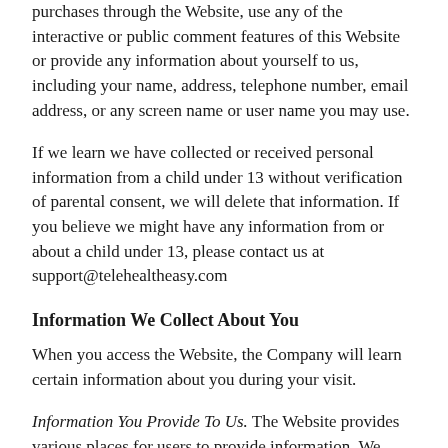purchases through the Website, use any of the interactive or public comment features of this Website or provide any information about yourself to us, including your name, address, telephone number, email address, or any screen name or user name you may use.
If we learn we have collected or received personal information from a child under 13 without verification of parental consent, we will delete that information. If you believe we might have any information from or about a child under 13, please contact us at support@telehealtheasy.com
Information We Collect About You
When you access the Website, the Company will learn certain information about you during your visit.
Information You Provide To Us. The Website provides various places for users to provide information. We collect information that users provide by filling out forms on the Website, communicating with us via contact forms,